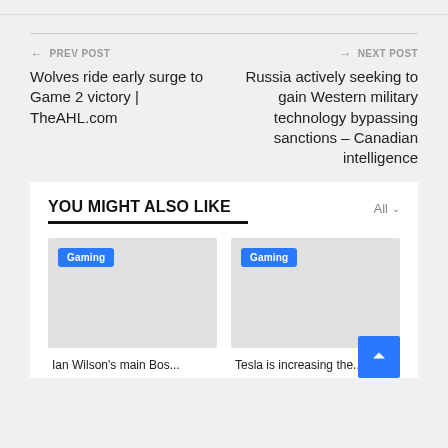← PREV POST
Wolves ride early surge to Game 2 victory | TheAHL.com
NEXT POST →
Russia actively seeking to gain Western military technology bypassing sanctions – Canadian intelligence
YOU MIGHT ALSO LIKE
All ∨
[Figure (other): Gaming category card placeholder image with blue Gaming tag badge]
Ian Wilson's main Bos...
[Figure (other): Gaming category card placeholder image with blue Gaming tag badge]
Tesla is increasing the...